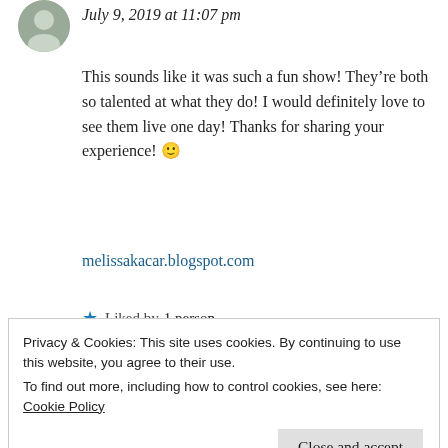July 9, 2019 at 11:07 pm
This sounds like it was such a fun show! They’re both so talented at what they do! I would definitely love to see them live one day! Thanks for sharing your experience! 🙂
melissakacar.blogspot.com
★ Liked by 1 person
Reply
Privacy & Cookies: This site uses cookies. By continuing to use this website, you agree to their use.
To find out more, including how to control cookies, see here: Cookie Policy
Close and accept
You are welcome!